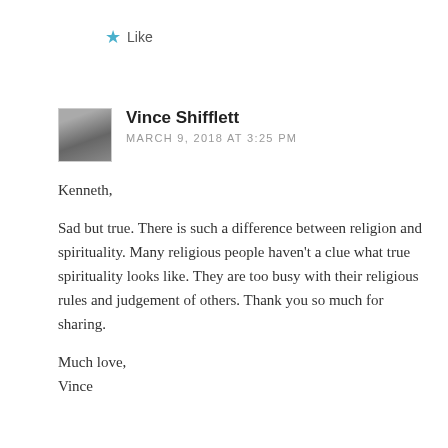★ Like
Vince Shifflett
MARCH 9, 2018 AT 3:25 PM
Kenneth,

Sad but true. There is such a difference between religion and spirituality. Many religious people haven't a clue what true spirituality looks like. They are too busy with their religious rules and judgement of others. Thank you so much for sharing.

Much love,
Vince